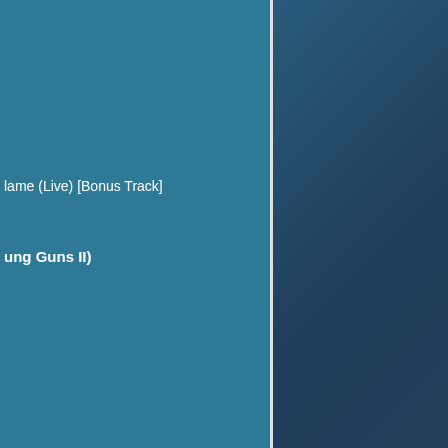lame (Live) [Bonus Track]
ung Guns II)
v
livin'
own (Richie Sambora, sólové album)